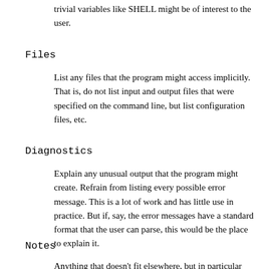trivial variables like SHELL might be of interest to the user.
Files
List any files that the program might access implicitly. That is, do not list input and output files that were specified on the command line, but list configuration files, etc.
Diagnostics
Explain any unusual output that the program might create. Refrain from listing every possible error message. This is a lot of work and has little use in practice. But if, say, the error messages have a standard format that the user can parse, this would be the place to explain it.
Notes
Anything that doesn't fit elsewhere, but in particular